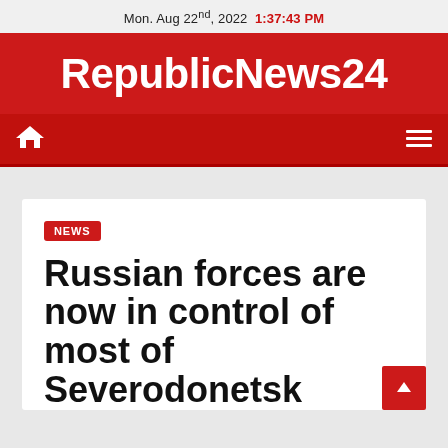Mon. Aug 22nd, 2022  1:37:43 PM
RepublicNews24
NEWS
Russian forces are now in control of most of Severodonetsk